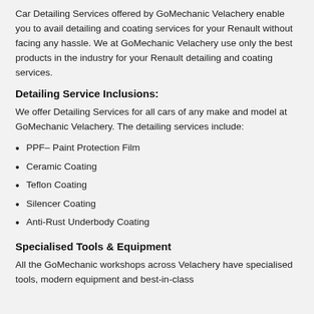Car Detailing Services offered by GoMechanic Velachery enable you to avail detailing and coating services for your Renault without facing any hassle. We at GoMechanic Velachery use only the best products in the industry for your Renault detailing and coating services.
Detailing Service Inclusions:
We offer Detailing Services for all cars of any make and model at GoMechanic Velachery. The detailing services include:
PPF– Paint Protection Film
Ceramic Coating
Teflon Coating
Silencer Coating
Anti-Rust Underbody Coating
Specialised Tools & Equipment
All the GoMechanic workshops across Velachery have specialised tools, modern equipment and best-in-class